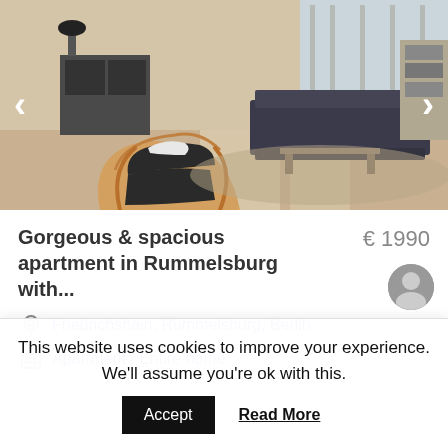[Figure (photo): Interior photo of a modern apartment living room with a recliner chair in foreground, dark sofa in background, floor-to-ceiling windows, and wood floor. Navigation arrows on left and right sides.]
Gorgeous & spacious apartment in Rummelsburg with...
€ 1990
Friedrichshain, Rummelsburg, Berlin
Apartment / Entire home
This website uses cookies to improve your experience. We'll assume you're ok with this.
Accept
Read More